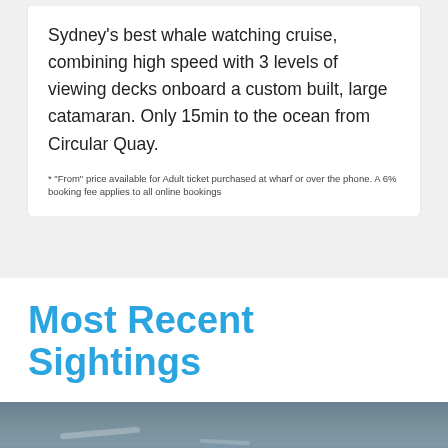Sydney's best whale watching cruise, combining high speed with 3 levels of viewing decks onboard a custom built, large catamaran. Only 15min to the ocean from Circular Quay.
* "From" price available for Adult ticket purchased at wharf or over the phone. A 6% booking fee applies to all online bookings
Most Recent Sightings
[Figure (photo): Ocean water scene, grey choppy sea with scattered white highlights, partial view of whale watching area]